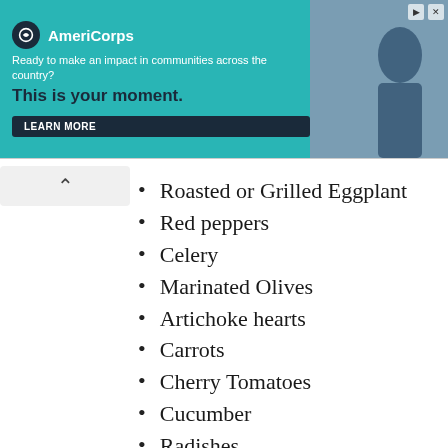[Figure (other): AmeriCorps advertisement banner with teal background. Text reads: 'Ready to make an impact in communities across the country? This is your moment.' with a LEARN MORE button. Photo of a person on the right side.]
Roasted or Grilled Eggplant
Red peppers
Celery
Marinated Olives
Artichoke hearts
Carrots
Cherry Tomatoes
Cucumber
Radishes
Pomegranate
Figs
Grapes